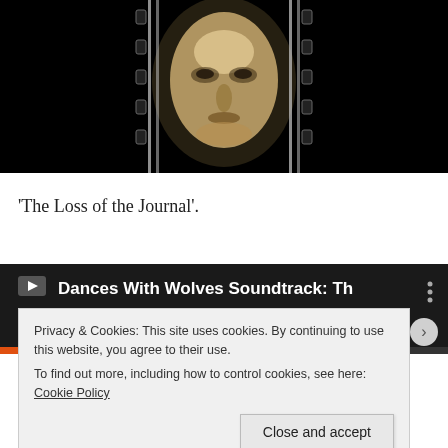[Figure (photo): A sepia-toned, high-contrast photograph of a man's face centered on a black background, resembling a film strip frame with thin vertical strip borders on either side.]
'The Loss of the Journal'.
[Figure (screenshot): A video player showing a partially visible title 'Dances With Wolves Soundtrack: Th' with a video icon on the left, dark background, and a progress bar at the bottom in orange/red.]
Privacy & Cookies: This site uses cookies. By continuing to use this website, you agree to their use.
To find out more, including how to control cookies, see here: Cookie Policy
Close and accept